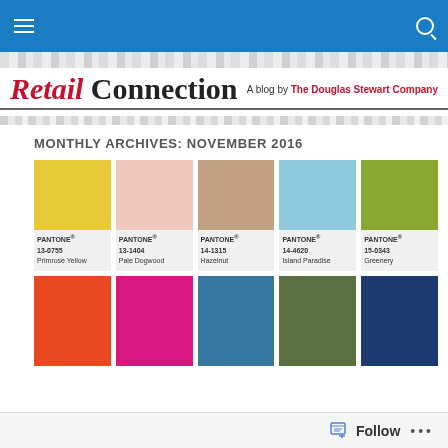Navigation bar with menu and search
Retail Connection — A blog by The Douglas Stewart Company
MONTHLY ARCHIVES: NOVEMBER 2016
[Figure (infographic): Grid of Pantone color swatches: Row 1: PANTONE 13-0755 Primrose Yellow, PANTONE 13-1404 Pale Dogwood, PANTONE 14-1315 Hazelnut, PANTONE 14-4620 Island Paradise, PANTONE 15-0343 Greenery. Row 2 (partial): Flame orange, Magenta pink, Steel blue, Olive green, Navy blue.]
Follow ...